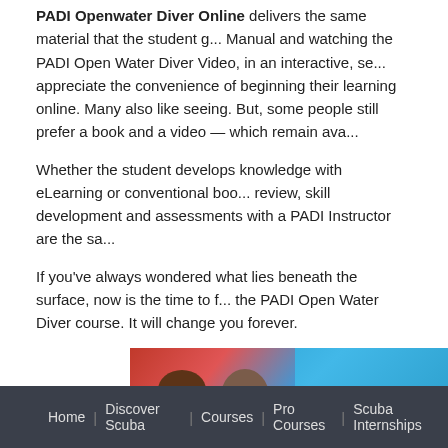PADI Openwater Diver Online delivers the same material that the student g... Manual and watching the PADI Open Water Diver Video, in an interactive, se... appreciate the convenience of beginning their learning online. Many also like seeing. But, some people still prefer a book and a video — which remain ava...
Whether the student develops knowledge with eLearning or conventional boo... review, skill development and assessments with a PADI Instructor are the sa...
If you've always wondered what lies beneath the surface, now is the time to f... the PADI Open Water Diver course. It will change you forever.
[Figure (photo): PADI eLearning promotional banner showing two people looking at a laptop with PADI eLe... branding on blue background]
Click Here For Online Scuba Diving Course
Padi open water course divers have FUN and opens a door to a whole...
Home | Discover Scuba | Courses | Pro Courses | Scuba Internships